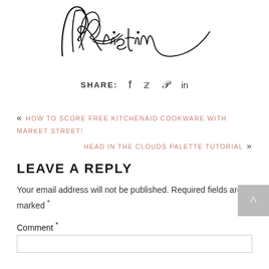[Figure (illustration): Cursive script signature reading 'Kristin' in decorative calligraphy]
SHARE:   f   🐦   ℗   in
« HOW TO SCORE FREE KITCHENAID COOKWARE WITH MARKET STREET!
HEAD IN THE CLOUDS PALETTE TUTORIAL »
LEAVE A REPLY
Your email address will not be published. Required fields are marked *
Comment *